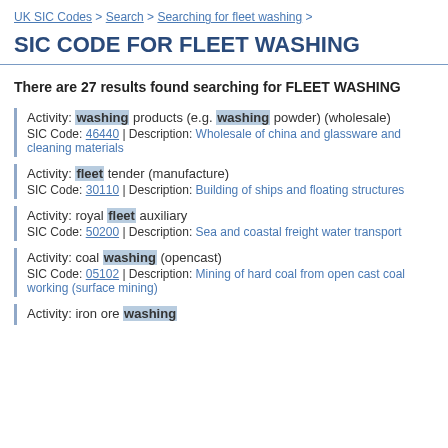UK SIC Codes > Search > Searching for fleet washing >
SIC CODE FOR FLEET WASHING
There are 27 results found searching for FLEET WASHING
Activity: washing products (e.g. washing powder) (wholesale)
SIC Code: 46440 | Description: Wholesale of china and glassware and cleaning materials
Activity: fleet tender (manufacture)
SIC Code: 30110 | Description: Building of ships and floating structures
Activity: royal fleet auxiliary
SIC Code: 50200 | Description: Sea and coastal freight water transport
Activity: coal washing (opencast)
SIC Code: 05102 | Description: Mining of hard coal from open cast coal working (surface mining)
Activity: iron ore washing